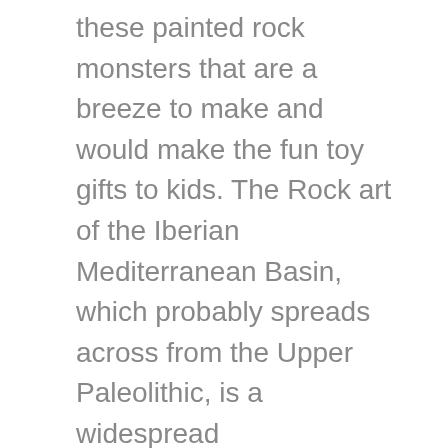these painted rock monsters that are a breeze to make and would make the fun toy gifts to kids. The Rock art of the Iberian Mediterranean Basin, which probably spreads across from the Upper Paleolithic, is a widespread phenomenon, much less well known than the cave-paintings of the Upper Paleolithic, with which it makes an interesting contrast. Details here easypeasyandfun, Also paint the different cartoons and other characters that are favorite to your kids, on the rocks and turn them into heart-winning gifts for the kids. It has been suggested that that the rock art was painted by Karijona tribe members. Webshop comming up! It's fun to make, uses very few supplies, dad will love it! Most of the ones on the wall are just 1 color prints of their key images. Start painting these rocks by giving a brown base coat. View this post on Instagram Sneak Peak!!! Details